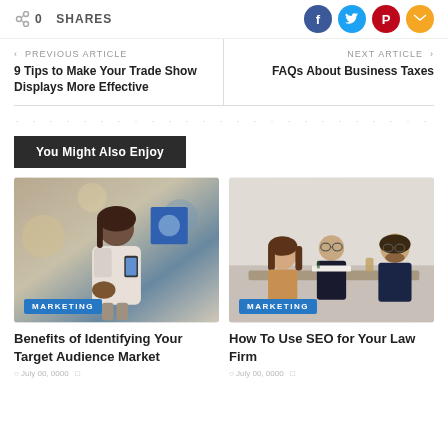0 SHARES
PREVIOUS ARTICLE
9 Tips to Make Your Trade Show Displays More Effective
NEXT ARTICLE
FAQs About Business Taxes
You Might Also Enjoy
[Figure (photo): Woman looking at her phone in a public space, MARKETING badge overlay]
Benefits of Identifying Your Target Audience Market
[Figure (photo): Business meeting with three people at a desk, MARKETING badge overlay]
How To Use SEO for Your Law Firm